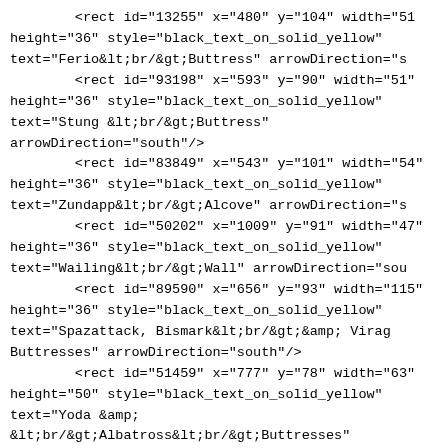<rect id="13255" x="480" y="104" width="51" height="36" style="black_text_on_solid_yellow" text="Ferio&lt;br/&gt;Buttress" arrowDirection="s
        <rect id="93198" x="593" y="90" width="51" height="36" style="black_text_on_solid_yellow" text="Stung &lt;br/&gt;Buttress" arrowDirection="south"/>
        <rect id="83849" x="543" y="101" width="54" height="36" style="black_text_on_solid_yellow" text="Zundapp&lt;br/&gt;Alcove" arrowDirection="s
        <rect id="50202" x="1009" y="91" width="47" height="36" style="black_text_on_solid_yellow" text="Wailing&lt;br/&gt;Wall" arrowDirection="sou
        <rect id="89590" x="656" y="93" width="115" height="36" style="black_text_on_solid_yellow" text="Spazattack, Bismark&lt;br/&gt;&amp; Virag Buttresses" arrowDirection="south"/>
        <rect id="51459" x="777" y="78" width="63" height="50" style="black_text_on_solid_yellow" text="Yoda &amp;
&lt;br/&gt;Albatross&lt;br/&gt;Buttresses" arrowDirection="south"/>
        <rect id="18045" x="865" y="73" width="119"